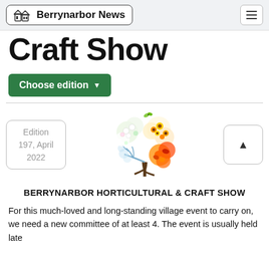Berrynarbor News
Craft Show
Choose edition
Edition 197, April 2022
[Figure (illustration): A decorative tree illustration showing four seasons — spring with white/green flowers, summer with yellow/orange blooms, autumn with orange/red leaves, and winter as bare blue branches — all on one tree.]
BERRYNARBOR HORTICULTURAL & CRAFT SHOW
For this much-loved and long-standing village event to carry on, we need a new committee of at least 4. The event is usually held late